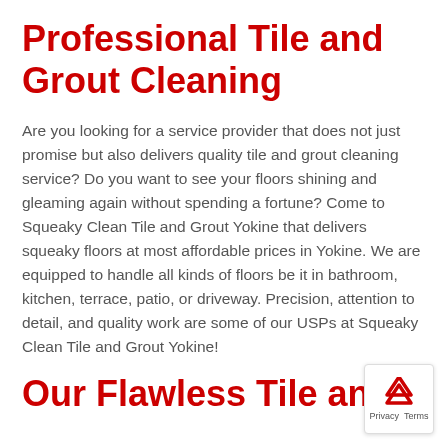Professional Tile and Grout Cleaning
Are you looking for a service provider that does not just promise but also delivers quality tile and grout cleaning service? Do you want to see your floors shining and gleaming again without spending a fortune? Come to Squeaky Clean Tile and Grout Yokine that delivers squeaky floors at most affordable prices in Yokine. We are equipped to handle all kinds of floors be it in bathroom, kitchen, terrace, patio, or driveway. Precision, attention to detail, and quality work are some of our USPs at Squeaky Clean Tile and Grout Yokine!
Our Flawless Tile and